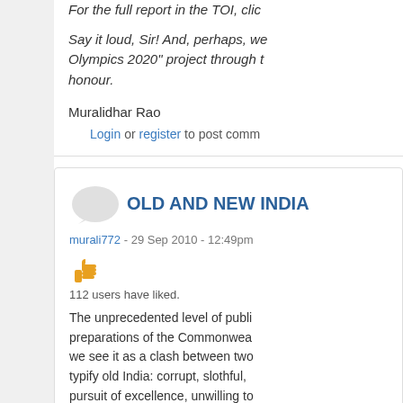For the full report in the TOI, click...
Say it loud, Sir! And, perhaps, we... Olympics 2020" project through t... honour.
Muralidhar Rao
Login or register to post comm...
OLD AND NEW INDIA
murali772 - 29 Sep 2010 - 12:49pm
112 users have liked.
The unprecedented level of publi... preparations of the Commonwea... we see it as a clash between two... typify old India: corrupt, slothful,... pursuit of excellence, unwilling to... convinced that in India, sab chalt... and horrified by the CWG mess a... new India: one that can do things...